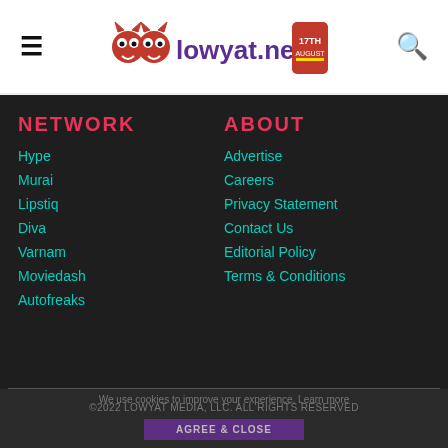lowyat.net
NETWORK
Hype
Murai
Lipstiq
Diva
Varnam
Moviedash
Autofreaks
ABOUT
Advertise
Careers
Privacy Statement
Contact Us
Editorial Policy
Terms & Conditions
©2022 LOWYAT MEDIA, LLC. ALL RIGHTS RESERVED
We use cookies to improve your experience. Learn more
AGREE & CLOSE